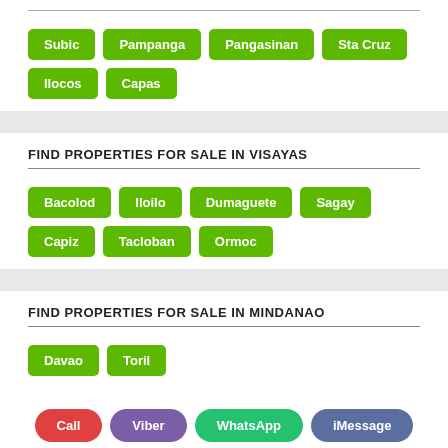Subic
Pampanga
Pangasinan
Sta Cruz
Ilocos
Capas
FIND PROPERTIES FOR SALE IN VISAYAS
Bacolod
Iloilo
Dumaguete
Sagay
Capiz
Tacloban
Ormoc
FIND PROPERTIES FOR SALE IN MINDANAO
Davao
Toril